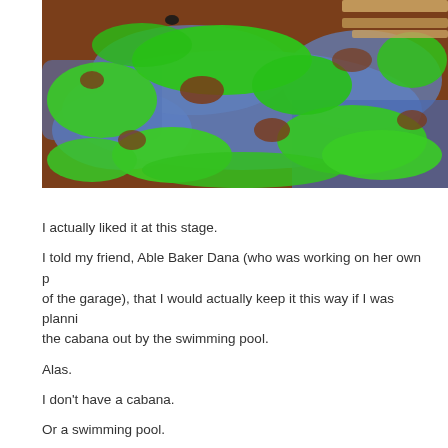[Figure (photo): Close-up photo of a wooden surface with peeling paint layers — bright green on top of blue, revealing reddish-brown wood underneath. Wooden slats or rails visible in the upper right corner.]
I actually liked it at this stage.
I told my friend, Able Baker Dana (who was working on her own p... of the garage), that I would actually keep it this way if I was planni... the cabana out by the swimming pool.
Alas.
I don't have a cabana.
Or a swimming pool.